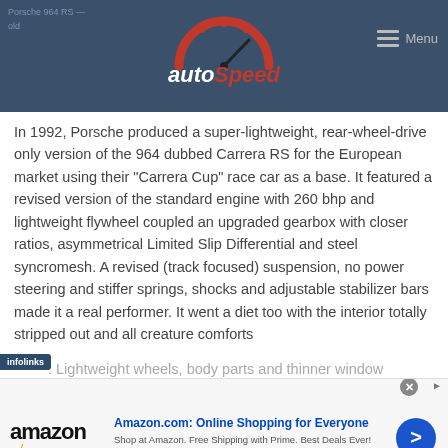autoSpeed — Menu
In 1992, Porsche produced a super-lightweight, rear-wheel-drive only version of the 964 dubbed Carrera RS for the European market using their “Carrera Cup” race car as a base. It featured a revised version of the standard engine with 260 bhp and lightweight flywheel coupled an upgraded gearbox with closer ratios, asymmetrical Limited Slip Differential and steel syncromesh. A revised (track focused) suspension, no power steering and stiffer springs, shocks and adjustable stabilizer bars made it a real performer. It went a diet too with the interior totally stripped out and all creature comforts removed. Lightweight wheels, body parts and thinner window
[Figure (screenshot): Amazon advertisement banner: Amazon.com: Online Shopping for Everyone. Shop at Amazon. Free Shipping with Prime. Best Deals Ever! amazon.com]